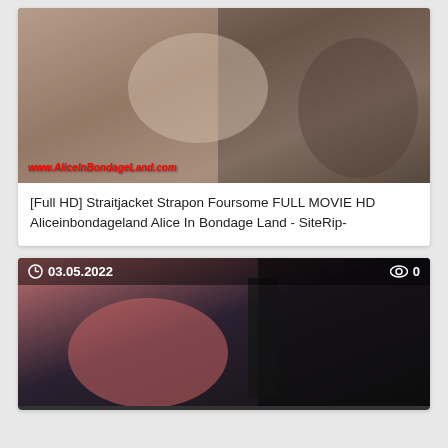[Figure (photo): Thumbnail image of adult content with watermark text www.AliceInBondageLand.com in red italic at bottom left]
[Full HD] Straitjacket Strapon Foursome FULL MOVIE HD Aliceinbondageland Alice In Bondage Land - SiteRip-
[Figure (photo): Thumbnail image of adult content with overlay bar showing date 03.05.2022 and view count 0]
03.05.2022
0